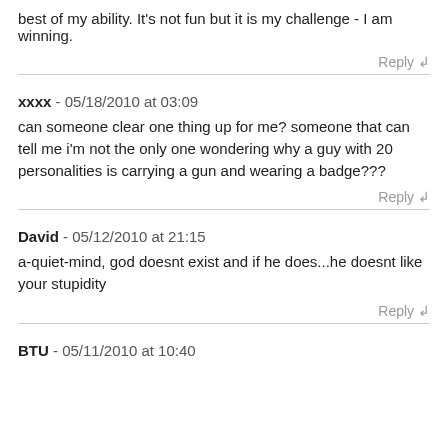best of my ability. It's not fun but it is my challenge - I am winning.
Reply ↲
xxxx - 05/18/2010 at 03:09
can someone clear one thing up for me? someone that can tell me i'm not the only one wondering why a guy with 20 personalities is carrying a gun and wearing a badge???
Reply ↲
David - 05/12/2010 at 21:15
a-quiet-mind, god doesnt exist and if he does...he doesnt like your stupidity
Reply ↲
BTU - 05/11/2010 at 10:40